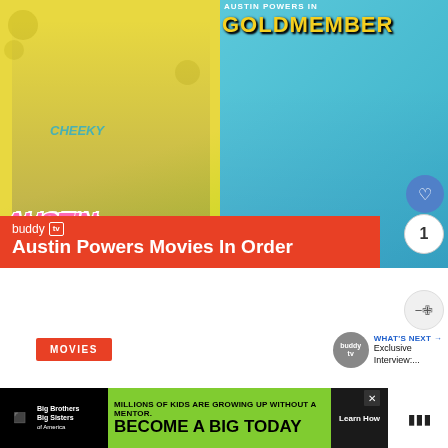[Figure (photo): Austin Powers movie posters collage: left side shows original Austin Powers poster with yellow background and pink title text, right side shows Austin Powers in Goldmember poster with blue background and gold title text. BuddyTV watermark with 'Austin Powers Movies In Order' overlay banner in red.]
Austin Powers Movies In Order
MOVIES
WHAT'S NEXT → Exclusive Interview:...
Austin Powers Movies In Order
[Figure (photo): Advertisement banner: Big Brothers Big Sisters. 'MILLIONS OF KIDS ARE GROWING UP WITHOUT A MENTOR. BECOME A BIG TODAY' with Learn How button.]